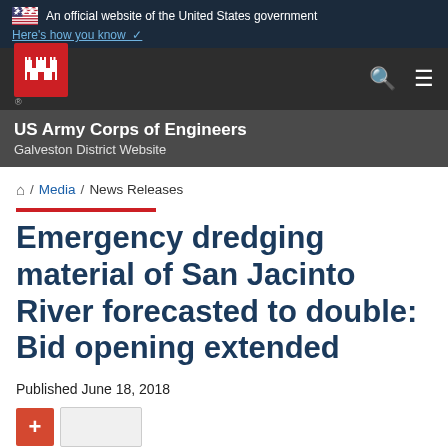An official website of the United States government
Here's how you know
[Figure (logo): US Army Corps of Engineers castle logo in red square]
US Army Corps of Engineers
Galveston District Website
/ Media / News Releases
Emergency dredging material of San Jacinto River forecasted to double: Bid opening extended
Published June 18, 2018